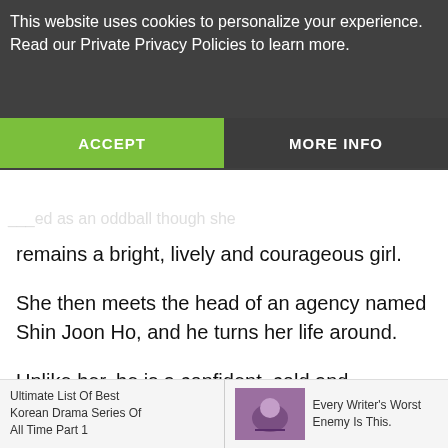This website uses cookies to personalize your experience. Read our Private Privacy Policies to learn more.
ACCEPT
MORE INFO
remains a bright, lively and courageous girl.
She then meets the head of an agency named Shin Joon Ho, and he turns her life around.
Unlike her, he is a confident, cold and competitive man who changes later after he begins to understand the real meaning of success through Lee Soo Shin. (Source: MyDramaList)
Best KDrama Series Of All Time - You Who Came From
Ultimate List Of Best Korean Drama Series Of All Time Part 1
Every Writer's Worst Enemy Is This.